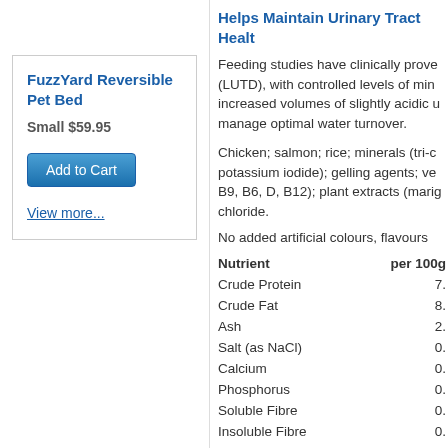FuzzYard Reversible Pet Bed
Small $59.95
Add to Cart
View more...
Helps Maintain Urinary Tract Healt
Feeding studies have clinically prove (LUTD), with controlled levels of min increased volumes of slightly acidic u manage optimal water turnover.
Chicken; salmon; rice; minerals (tri-c potassium iodide); gelling agents; ve B9, B6, D, B12); plant extracts (marig chloride.
No added artificial colours, flavours
| Nutrient | per 100g |
| --- | --- |
| Crude Protein | 7. |
| Crude Fat | 8. |
| Ash | 2. |
| Salt (as NaCl) | 0. |
| Calcium | 0. |
| Phosphorus | 0. |
| Soluble Fibre | 0. |
| Insoluble Fibre | 0. |
| Zinc | 0. |
| Linoleic acid | 1 |